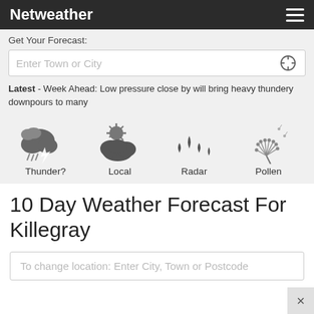Netweather
Get Your Forecast:
Enter Town or City
Latest - Week Ahead: Low pressure close by will bring heavy thundery downpours to many
[Figure (illustration): Four weather icons: Thunder?, Local, Radar, Pollen]
10 Day Weather Forecast For Killegray
To change location: Enter City, Town or Postcode